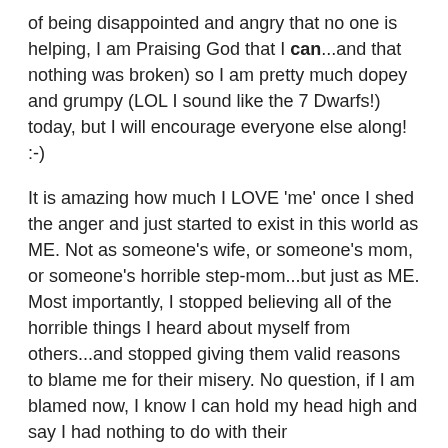of being disappointed and angry that no one is helping, I am Praising God that I can...and that nothing was broken) so I am pretty much dopey and grumpy (LOL I sound like the 7 Dwarfs!) today, but I will encourage everyone else along! :-)
It is amazing how much I LOVE 'me' once I shed the anger and just started to exist in this world as ME. Not as someone's wife, or someone's mom, or someone's horrible step-mom...but just as ME. Most importantly, I stopped believing all of the horrible things I heard about myself from others...and stopped giving them valid reasons to blame me for their misery. No question, if I am blamed now, I know I can hold my head high and say I had nothing to do with their behaviors/choices. Even my 13 year old and I are getting along better. She is my pride and joy but she is A) a teenager and B) just like her daddy. She